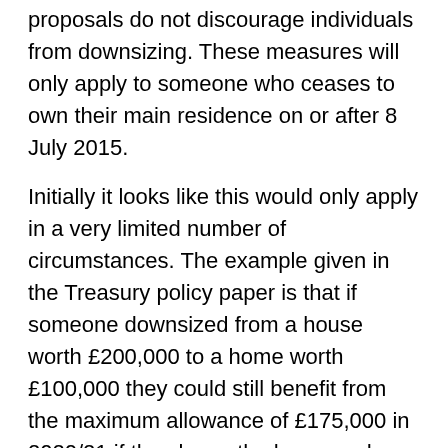proposals do not discourage individuals from downsizing. These measures will only apply to someone who ceases to own their main residence on or after 8 July 2015.
Initially it looks like this would only apply in a very limited number of circumstances. The example given in the Treasury policy paper is that if someone downsized from a house worth £200,000 to a home worth £100,000 they could still benefit from the maximum allowance of £175,000 in 2020/21 if they leave the home and £75,000 of other assets to direct descendants.
Where we could see the rules having more practical relevance is where someone has sold their main residence and moved into a nursing home. In these circumstances, they would be able to leave assets worth up to £175,000 (by 2020/21) to a direct descendant.